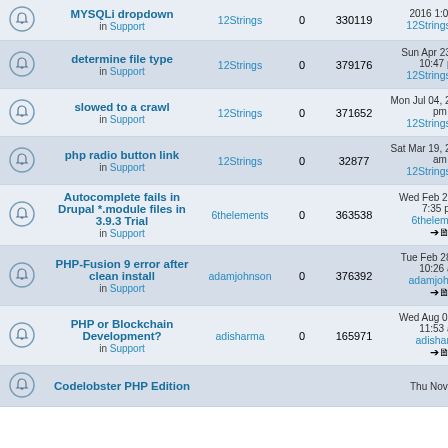|  | Topic | Author | Replies | Views | Last Post |
| --- | --- | --- | --- | --- | --- |
|  | MYSQLi dropdown
in Support | 12Strings | 0 | 330119 | 2016 1:09 am
12Strings → |
|  | determine file type
in Support | 12Strings | 0 | 379176 | Sun Apr 23, 2017 10:47 pm
12Strings → |
|  | slowed to a crawl
in Support | 12Strings | 0 | 371652 | Mon Jul 04, 2016 7:08 pm
12Strings → |
|  | php radio button link
in Support | 12Strings | 0 | 32877 | Sat Mar 19, 2016 3:32 am
12Strings → |
|  | Autocomplete fails in Drupal *.module files in 3.9.3 Trial
in Support | 6thelements | 0 | 363538 | Wed Feb 28, 2018 7:35 pm
6thelements → |
|  | PHP-Fusion 9 error after clean install
in Support | adamjohnson | 0 | 376392 | Tue Feb 28, 2017 10:26 am
adamjohnson → |
|  | PHP or Blockchain Development?
in Support | adisharma | 0 | 165971 | Wed Aug 04, 2021 11:53 am
adisharma → |
|  | Codelobster PHP Edition
 |  |  |  | Thu Nov 17... |